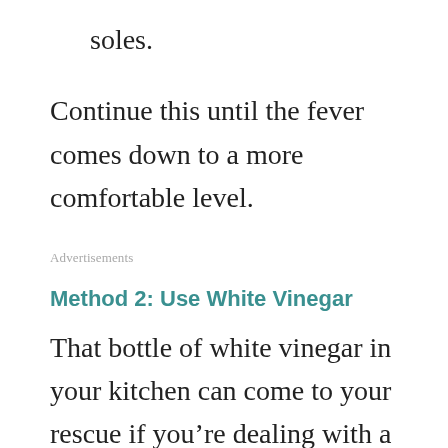soles.
Continue this until the fever comes down to a more comfortable level.
Advertisements
Method 2: Use White Vinegar
That bottle of white vinegar in your kitchen can come to your rescue if you’re dealing with a high fever late at night. This is another home remedy that has proven effective against high fever.